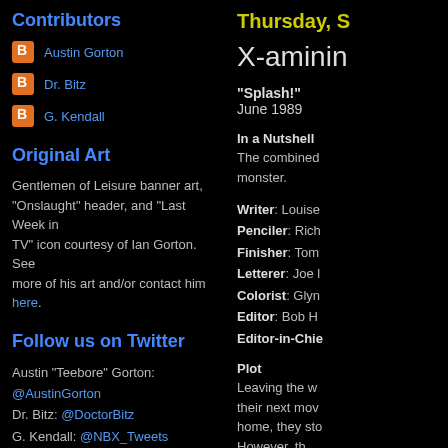Contributors
Austin Gorton
Dr. Bitz
G. Kendall
Original Art
Gentlemen of Leisure banner art, "Onslaught" header, and "Last Week in TV" icon courtesy of Ian Gorton. See more of his art and/or contact him here.
Follow us on Twitter
Austin "Teebore" Gorton: @AustinGorton
Dr. Bitz: @DoctorBitz
G. Kendall: @NBX_Tweets
Saved by the Bell Reviewed: The Podcast: @SBTB_Reviewed
A Very Special Episode: @AVSEPod
Thursday, S
X-aminin
"Splash!"
June 1989
In a Nutshell
The combined monster.
Writer: Louise
Penciler: Rich
Finisher: Tom
Letterer: Joe
Colorist: Glyn
Editor: Bob H
Editor-in-Chie
Plot
Leaving the w their next mov home, they sto However, th